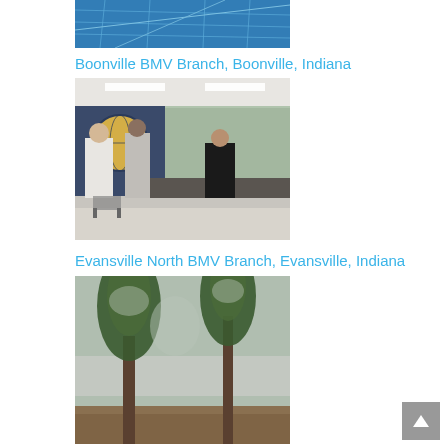[Figure (photo): Partial top image showing a blue map/geographic background, cropped at top of page]
Boonville BMV Branch, Boonville, Indiana
[Figure (photo): Interior of a BMV branch office showing people standing at a service counter, with a large circular logo on the wall]
Evansville North BMV Branch, Evansville, Indiana
[Figure (photo): Outdoor scene showing pine trees with a building partially visible in the background]